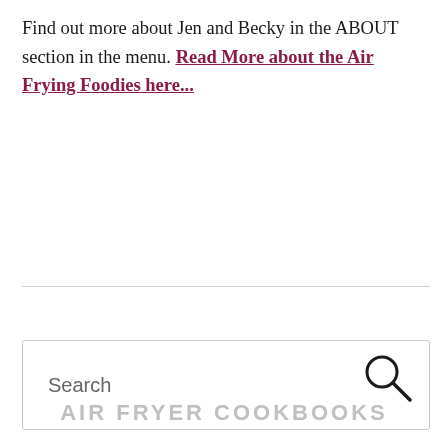Find out more about Jen and Becky in the ABOUT section in the menu. Read More about the Air Frying Foodies here…
[Figure (other): Search box with search icon (magnifying glass) on the right]
AIR FRYER COOKBOOKS